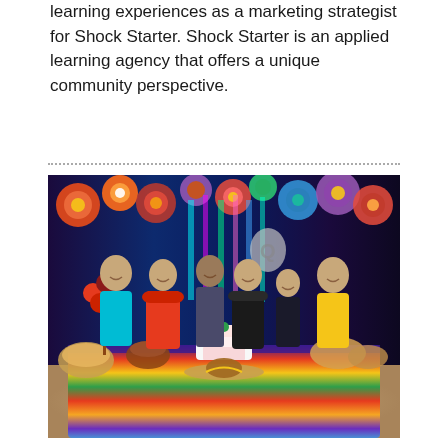learning experiences as a marketing strategist for Shock Starter. Shock Starter is an applied learning agency that offers a unique community perspective.
[Figure (photo): Group photo of six people standing around a festive table decorated with traditional Mexican food, a tiered cake, a sombrero, and colorful serape tablecloth. The background features large colorful paper flowers and neon light curtains. The group is dressed in festive/traditional Mexican-style clothing.]